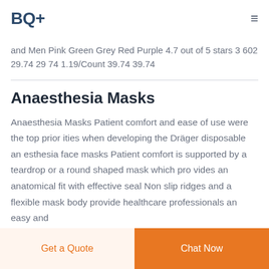BQ+
and Men Pink Green Grey Red Purple 4.7 out of 5 stars 3 602 29.74 29 74 1.19/Count 39.74 39.74
Anaesthesia Masks
Anaesthesia Masks Patient comfort and ease of use were the top prior ities when developing the Dräger disposable an esthesia face masks Patient comfort is supported by a teardrop or a round shaped mask which pro vides an anatomical fit with effective seal Non slip ridges and a flexible mask body provide healthcare professionals an easy and
Get a Quote  Chat Now